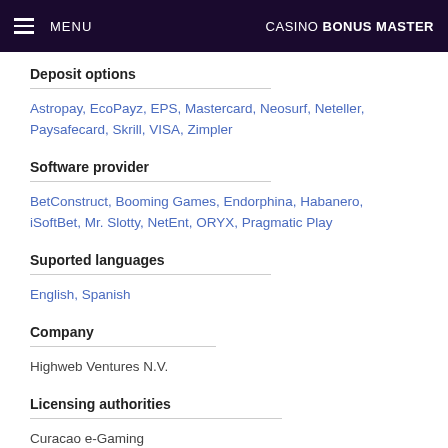MENU | CASINO BONUS MASTER
Deposit options
Astropay, EcoPayz, EPS, Mastercard, Neosurf, Neteller, Paysafecard, Skrill, VISA, Zimpler
Software provider
BetConstruct, Booming Games, Endorphina, Habanero, iSoftBet, Mr. Slotty, NetEnt, ORYX, Pragmatic Play
Suported languages
English, Spanish
Company
Highweb Ventures N.V.
Licensing authorities
Curacao e-Gaming